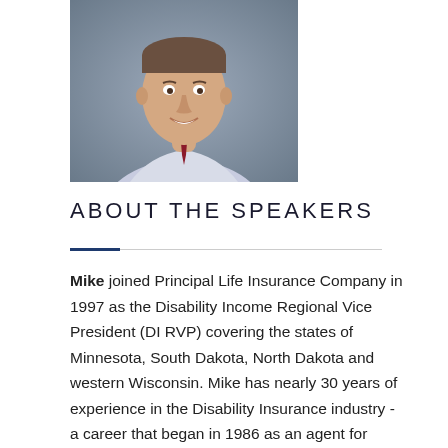[Figure (photo): Professional headshot of a man in a light blue dress shirt and red patterned tie, smiling, with a gray/blue background]
ABOUT THE SPEAKERS
Mike joined Principal Life Insurance Company in 1997 as the Disability Income Regional Vice President (DI RVP) covering the states of Minnesota, South Dakota, North Dakota and western Wisconsin. Mike has nearly 30 years of experience in the Disability Insurance industry - a career that began in 1986 as an agent for